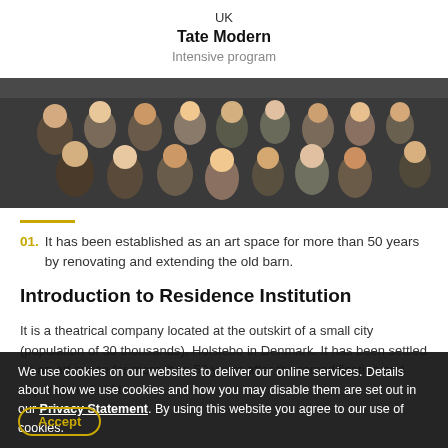UK
Tate Modern
Intensive program
[Figure (photo): Overhead view of a group of children and adults gathered in a large room, seen from above]
01. It has been established as an art space for more than 50 years by renovating and extending the old barn.
Introduction to Residence Institution
It is a theatrical company located at the outskirt of a small city (population of 30 thousands), Holstebo in Denmark. It has been settled as an art space for more than 50 years after the remodification and expansion of old livestock building. It consists of four studios and performance spaces of a B…
We use cookies on our websites to deliver our online services. Details about how we use cookies and how you may disable them are set out in our Privacy Statement. By using this website you agree to our use of cookies.
Accept